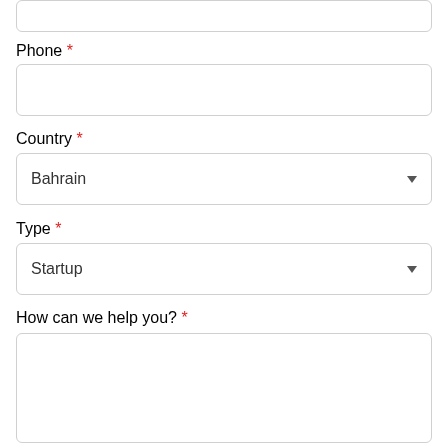Phone *
Country *
Bahrain
Type *
Startup
How can we help you? *